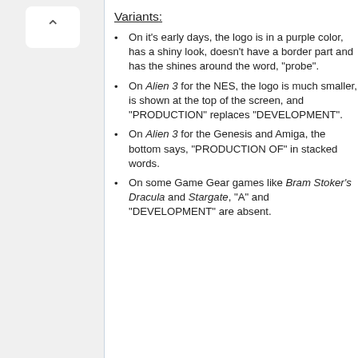Variants:
On it's early days, the logo is in a purple color, has a shiny look, doesn't have a border part and has the shines around the word, "probe".
On Alien 3 for the NES, the logo is much smaller, is shown at the top of the screen, and "PRODUCTION" replaces "DEVELOPMENT".
On Alien 3 for the Genesis and Amiga, the bottom says, "PRODUCTION OF" in stacked words.
On some Game Gear games like Bram Stoker's Dracula and Stargate, "A" and "DEVELOPMENT" are absent.